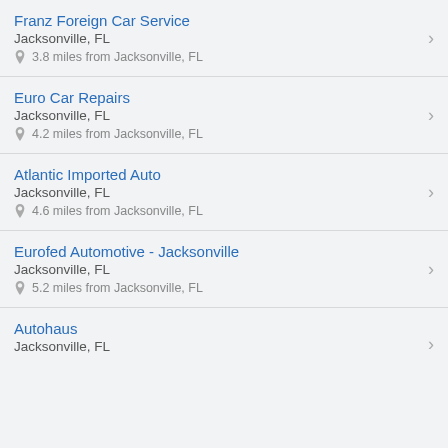Franz Foreign Car Service
Jacksonville, FL
3.8 miles from Jacksonville, FL
Euro Car Repairs
Jacksonville, FL
4.2 miles from Jacksonville, FL
Atlantic Imported Auto
Jacksonville, FL
4.6 miles from Jacksonville, FL
Eurofed Automotive - Jacksonville
Jacksonville, FL
5.2 miles from Jacksonville, FL
Autohaus
Jacksonville, FL